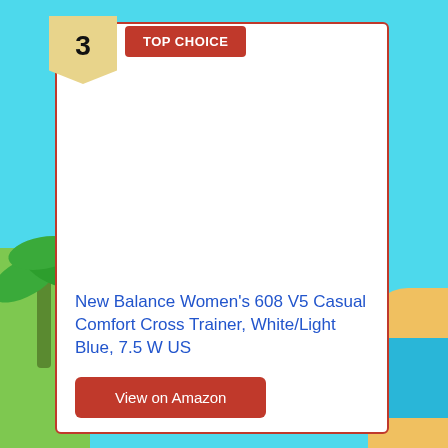[Figure (illustration): Tropical beach background with cyan sky, green palm tree on left, sandy ground on right, water visible]
3
TOP CHOICE
New Balance Women's 608 V5 Casual Comfort Cross Trainer, White/Light Blue, 7.5 W US
View on Amazon